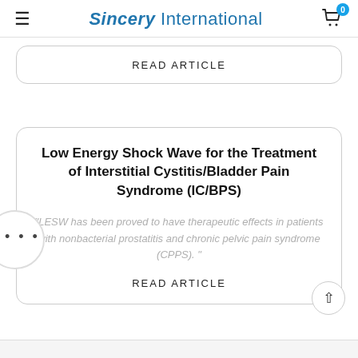Sincery International
READ ARTICLE
Low Energy Shock Wave for the Treatment of Interstitial Cystitis/Bladder Pain Syndrome (IC/BPS)
"LESW has been proved to have therapeutic effects in patients with nonbacterial prostatitis and chronic pelvic pain syndrome (CPPS). "
READ ARTICLE